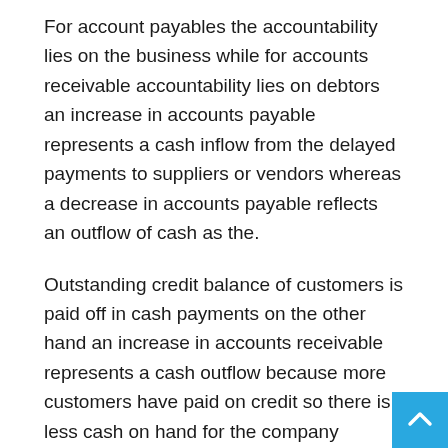For account payables the accountability lies on the business while for accounts receivable accountability lies on debtors an increase in accounts payable represents a cash inflow from the delayed payments to suppliers or vendors whereas a decrease in accounts payable reflects an outflow of cash as the.
Outstanding credit balance of customers is paid off in cash payments on the other hand an increase in accounts receivable represents a cash outflow because more customers have paid on credit so there is less cash on hand for the company whereas a decrease in accounts.
Receivable reflects an inflow of cash as more cash was collected from sales that were previously paid for on credit if you want to read in details and download the pdf go through the link in the description if you find the video helpful give